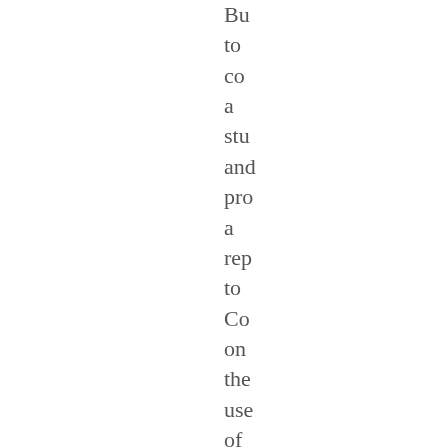Bu
to
co
a
stu
and
pro
a
rep
to
Co
on
the
use
of
pre
dis
art
cla